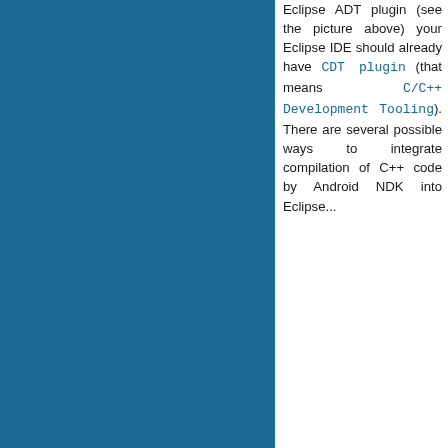[Figure (illustration): Large teal/dark blue rectangular panel occupying the left two-thirds of the page]
Eclipse ADT plugin (see the picture above) your Eclipse IDE should already have CDT plugin (that means C/C++ Development Tooling). There are several possible ways to integrate compilation of C++ code by Android NDK into Eclipse...